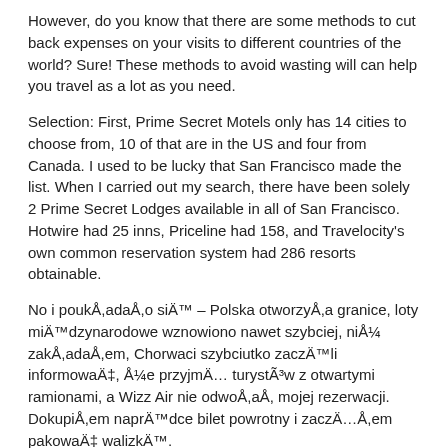However, do you know that there are some methods to cut back expenses on your visits to different countries of the world? Sure! These methods to avoid wasting will can help you travel as a lot as you need.
Selection: First, Prime Secret Motels only has 14 cities to choose from, 10 of that are in the US and four from Canada. I used to be lucky that San Francisco made the list. When I carried out my search, there have been solely 2 Prime Secret Lodges available in all of San Francisco. Hotwire had 25 inns, Priceline had 158, and Travelocity's own common reservation system had 286 resorts obtainable.
No i poukÅ,adaÅ,o siÄ™ – Polska otworzyÅ,a granice, loty miÄ™dzynarodowe wznowiono nawet szybciej, niÅ¼ zakÅ,adaÅ,em, Chorwaci szybciutko zaczÄ™li informowaÄ‡, Å¼e przyjmÄ… turystÃ³w z otwartymi ramionami, a Wizz Air nie odwoÅ,aÅ, mojej rezerwacji. DokupiÅ,em naprÄ™dce bilet powrotny i zaczÄ…Å,em pakowaÄ‡ walizkÄ™.